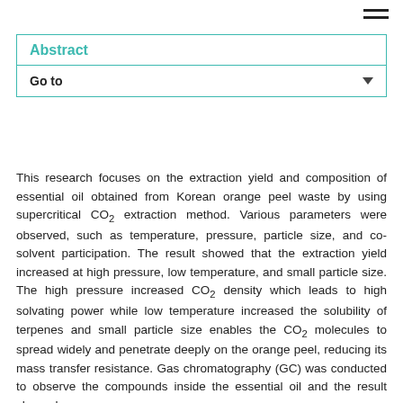Abstract
Go to
This research focuses on the extraction yield and composition of essential oil obtained from Korean orange peel waste by using supercritical CO₂ extraction method. Various parameters were observed, such as temperature, pressure, particle size, and co-solvent participation. The result showed that the extraction yield increased at high pressure, low temperature, and small particle size. The high pressure increased CO₂ density which leads to high solvating power while low temperature increased the solubility of terpenes and small particle size enables the CO₂ molecules to spread widely and penetrate deeply on the orange peel, reducing its mass transfer resistance. Gas chromatography (GC) was conducted to observe the compounds inside the essential oil and the result showed